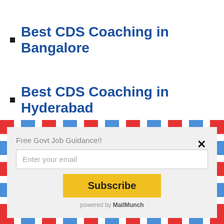Best CDS Coaching in Bangalore
Best CDS Coaching in Hyderabad
[Figure (screenshot): MailMunch email subscription popup with airmail border stripes, 'Free Govt Job Guidance!!' label, email input field, Subscribe button, and 'powered by MailMunch' footer]